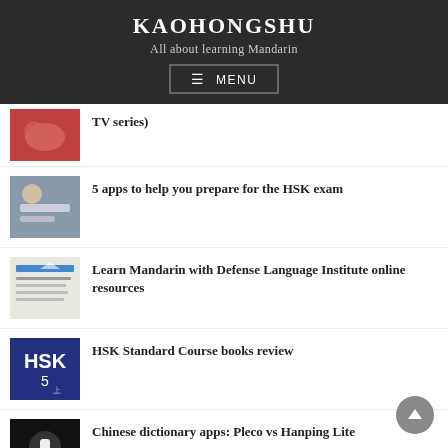KAOHONGSHU
All about learning Mandarin
≡ MENU
TV series)
5 apps to help you prepare for the HSK exam
Learn Mandarin with Defense Language Institute online resources
HSK Standard Course books review
Chinese dictionary apps: Pleco vs Hanping Lite
Why you shouldn't use Douyin ("the Chinese TikTok") to improve your Mandarin